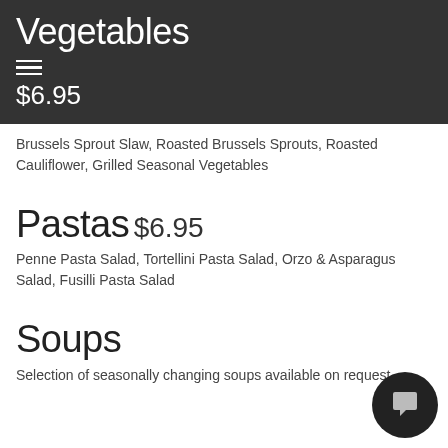Vegetables
$6.95
Brussels Sprout Slaw, Roasted Brussels Sprouts, Roasted Cauliflower, Grilled Seasonal Vegetables
Pastas
$6.95
Penne Pasta Salad, Tortellini Pasta Salad, Orzo & Asparagus Salad, Fusilli Pasta Salad
Soups
Selection of seasonally changing soups available on request